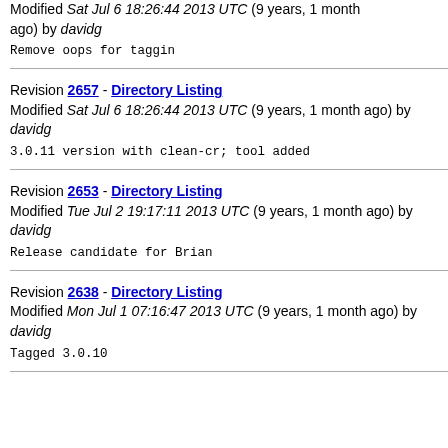Modified Sat Jul 6 18:26:44 2013 UTC (9 years, 1 month ago) by davidg
Remove oops for taggin
Revision 2657 - Directory Listing
Modified Sat Jul 6 18:26:44 2013 UTC (9 years, 1 month ago) by davidg
3.0.11 version with clean-cr; tool added
Revision 2653 - Directory Listing
Modified Tue Jul 2 19:17:11 2013 UTC (9 years, 1 month ago) by davidg
Release candidate for Brian
Revision 2638 - Directory Listing
Modified Mon Jul 1 07:16:47 2013 UTC (9 years, 1 month ago) by davidg
Tagged 3.0.10